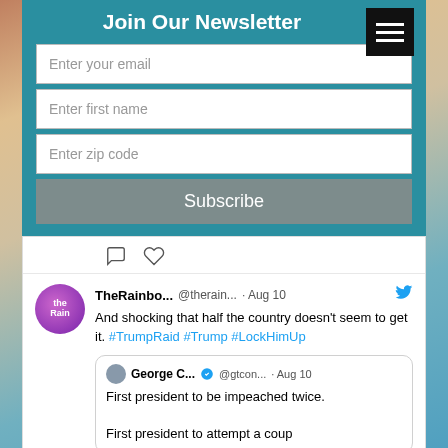Join Our Newsletter
Enter your email
Enter first name
Enter zip code
Subscribe
[Figure (screenshot): Twitter/social media interaction icons (comment and heart/like)]
TheRainbo... @therain... · Aug 10
And shocking that half the country doesn't seem to get it. #TrumpRaid #Trump #LockHimUp
George C... @gtcon... · Aug 10
First president to be impeached twice.

First president to attempt a coup